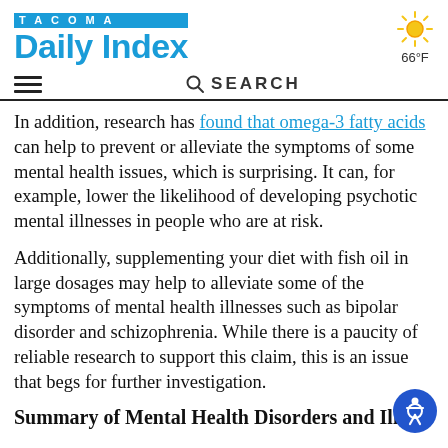TACOMA Daily Index — 66°F
In addition, research has found that omega-3 fatty acids can help to prevent or alleviate the symptoms of some mental health issues, which is surprising. It can, for example, lower the likelihood of developing psychotic mental illnesses in people who are at risk.
Additionally, supplementing your diet with fish oil in large dosages may help to alleviate some of the symptoms of mental health illnesses such as bipolar disorder and schizophrenia. While there is a paucity of reliable research to support this claim, this is an issue that begs for further investigation.
Summary of Mental Health Disorders and Illnesses